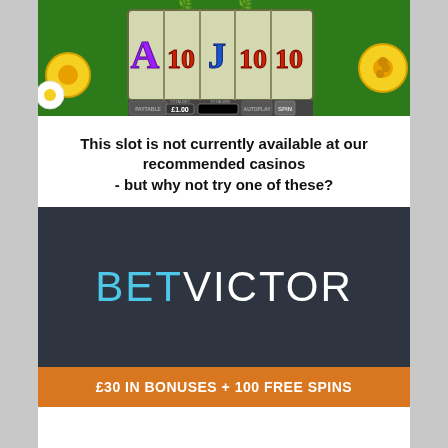[Figure (screenshot): Screenshot of a flower-themed slot machine game with reels showing A, 10, J, 10, 10 symbols, and controls including PAYTABLE, TOTALBET £1.00, TOTALWIN, AUTOPLAY, SPIN buttons. Sunflower and daisy decorations surround the reels.]
This slot is not currently available at our recommended casinos - but why not try one of these?
[Figure (logo): BetVictor casino banner on dark background (#2e3540) with large BETVICTOR logo where BET is in light blue and VICTOR is in white, followed by an orange banner at the bottom reading: £30 IN BONUSES + 100 FREE SPINS]